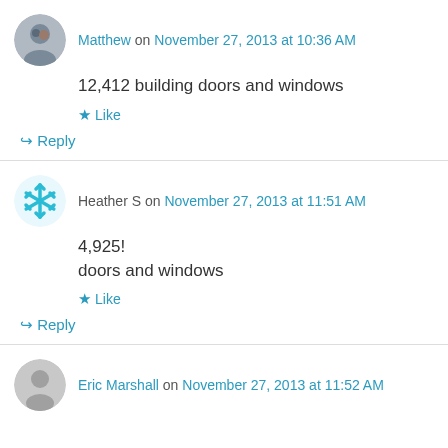Matthew on November 27, 2013 at 10:36 AM
12,412 building doors and windows
Like
↳ Reply
Heather S on November 27, 2013 at 11:51 AM
4,925!
doors and windows
Like
↳ Reply
Eric Marshall on November 27, 2013 at 11:52 AM